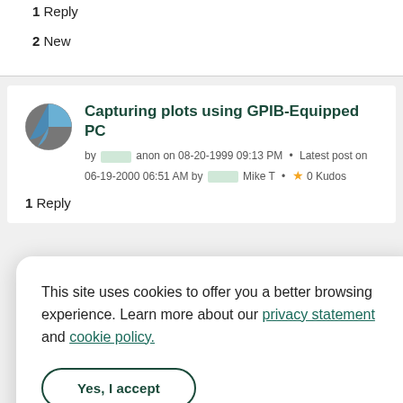1 Reply
2 New
Capturing plots using GPIB-Equipped PC
by anon on 08-20-1999 09:13 PM • Latest post on 06-19-2000 06:51 AM by Mike T • 0 Kudos
1 Reply
This site uses cookies to offer you a better browsing experience. Learn more about our privacy statement and cookie policy.
Yes, I accept